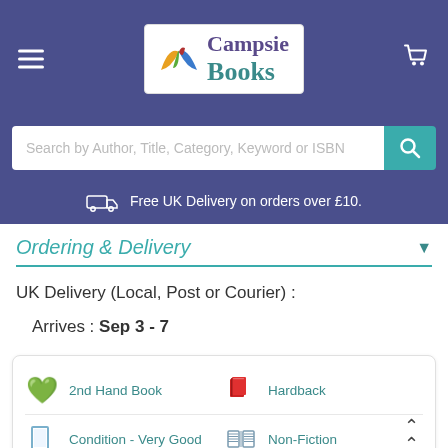[Figure (logo): Campsie Books logo with colourful book pages icon, on white background with purple header bar, hamburger menu icon and cart icon]
Search by Author, Title, Category, Keyword or ISBN
Free UK Delivery on orders over £10.
Ordering & Delivery
UK Delivery (Local, Post or Courier) :
Arrives : Sep 3 - 7
2nd Hand Book
Hardback
Condition - Very Good
Non-Fiction
History & Futurology
Only 1 Available